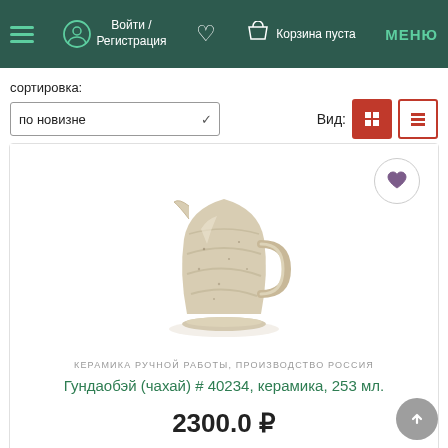Войти / Регистрация  [heart]  [bag] Корзина пуста  МЕНЮ
сортировка:
по новизне
Вид:
[Figure (photo): Photo of a handmade ceramic gundaobei (chahai) pitcher/jug, beige/cream color with spiral texture pattern, on white background]
КЕРАМИКА РУЧНОЙ РАБОТЫ, ПРОИЗВОДСТВО РОССИЯ
Гундаобэй (чахай) # 40234, керамика, 253 мл.
2300.0 ₽
1 шт.